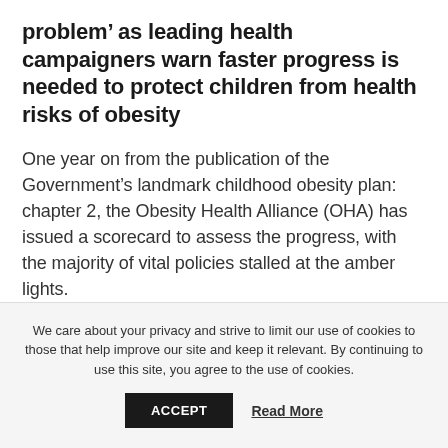problem’ as leading health campaigners warn faster progress is needed to protect children from health risks of obesity
One year on from the publication of the Government’s landmark childhood obesity plan: chapter 2, the Obesity Health Alliance (OHA) has issued a scorecard to assess the progress, with the majority of vital policies stalled at the amber lights.
We care about your privacy and strive to limit our use of cookies to those that help improve our site and keep it relevant. By continuing to use this site, you agree to the use of cookies.